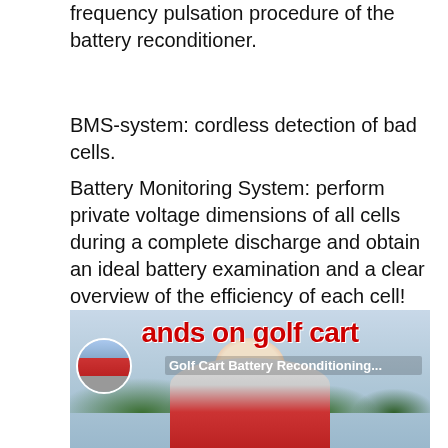frequency pulsation procedure of the battery reconditioner.
BMS-system: cordless detection of bad cells.
Battery Monitoring System: perform private voltage dimensions of all cells during a complete discharge and obtain an ideal battery examination and a clear overview of the efficiency of each cell!
[Figure (screenshot): Video thumbnail showing a man in a red shirt outdoors with trees in background. Overlay text reads 'ands on golf cart' in red and 'Golf Cart Battery Reconditioning...' as a subtitle with a circular avatar of a person.]